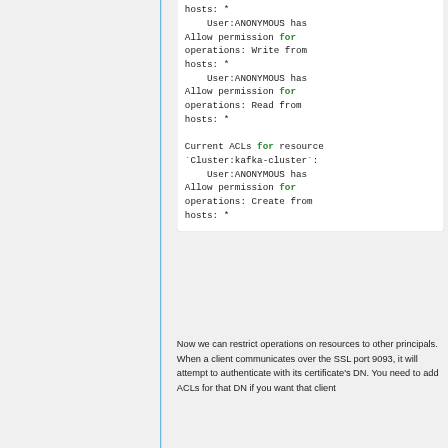[Figure (screenshot): Code block showing ACL output: hosts: *, User:ANONYMOUS has Allow permission for operations: Write from hosts: *, User:ANONYMOUS has Allow permission for operations: Read from hosts: *, then Current ACLs for resource `Cluster:kafka-cluster`: User:ANONYMOUS has Allow permission for operations: Create from hosts: *]
Now we can restrict operations on resources to other principals. When a client communicates over the SSL port 9093, it will attempt to authenticate with its certificate's DN. You need to add ACLs for that DN if you want that client